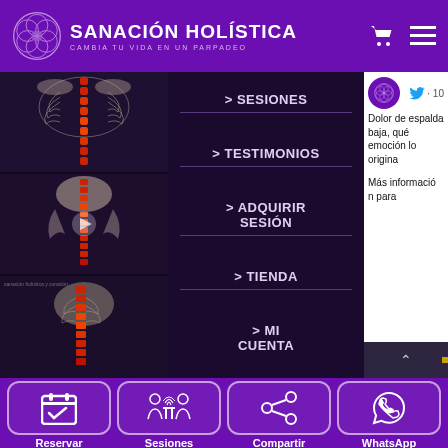[Figure (screenshot): Website header with purple background showing Sanación Holística logo, cart icon, and hamburger menu]
SANACIÓN HOLÍSTICA
CAMBIA TU VIDA EN UN PARPADEO
[Figure (screenshot): Navigation menu on dark background with spine anatomy images on left, menu items in center, and Twitter panel on right]
> SESIONES
> TESTIMONIOS
> ADQUIRIR SESIÓN
> TIENDA
> MI CUENTA
Dolor de espalda baja, qué emoción lo origina
Más información para
· 10
[Figure (screenshot): Bottom navigation bar with four buttons: Reservar (calendar), Sesiones (people), Compartir (share), WhatsApp (phone)]
Reservar
Sesiones
Compartir
WhatsApp